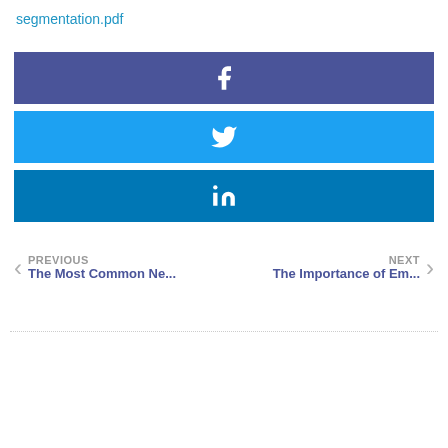segmentation.pdf
[Figure (infographic): Three social media share buttons stacked vertically: Facebook (dark blue-purple), Twitter (light blue), LinkedIn (dark teal blue), each with their respective white icons centered.]
PREVIOUS
The Most Common Ne...
NEXT
The Importance of Em...